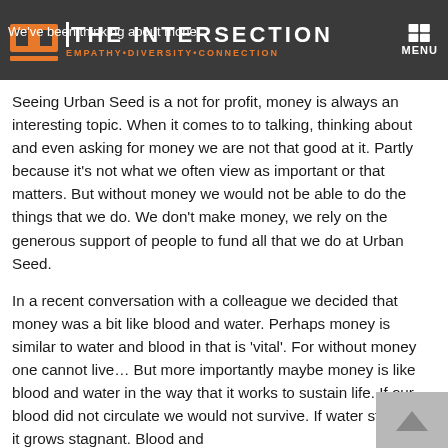THE INTERSECTION — EMPATHY • DIVERSITY • CONNECTION — MENU
Seeing Urban Seed is a not for profit, money is always an interesting topic.  When it comes to to talking, thinking about and even asking for money we are not that good at it.  Partly because it's not what we often view as important or that matters. But without money we would not be able to do the things that we do.  We don't make money, we rely on the generous support of people to fund all that we do at Urban Seed.
In a recent conversation with a colleague we decided that money was a bit like blood and water.  Perhaps money is similar to water and blood in that is 'vital'.  For without money one cannot live…  But more importantly maybe money is like blood and water in the way that it works to sustain life.  If our blood did not circulate we would not survive.  If water stays still it grows stagnant.  Blood and